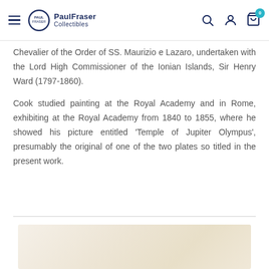PaulFraser Collectibles
Chevalier of the Order of SS. Maurizio e Lazaro, undertaken with the Lord High Commissioner of the Ionian Islands, Sir Henry Ward (1797-1860).
Cook studied painting at the Royal Academy and in Rome, exhibiting at the Royal Academy from 1840 to 1855, where he showed his picture entitled 'Temple of Jupiter Olympus', presumably the original of one of the two plates so titled in the present work.
[Figure (photo): Partial view of a document or artwork with light beige/cream coloring, bottom of page]